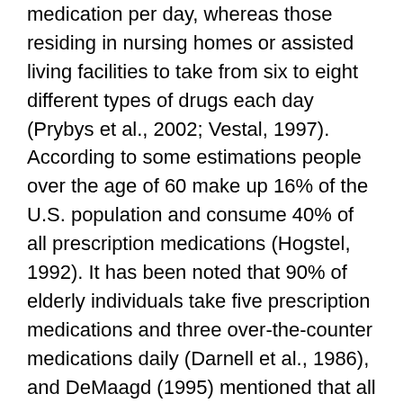medication per day, whereas those residing in nursing homes or assisted living facilities to take from six to eight different types of drugs each day (Prybys et al., 2002; Vestal, 1997). According to some estimations people over the age of 60 make up 16% of the U.S. population and consume 40% of all prescription medications (Hogstel, 1992). It has been noted that 90% of elderly individuals take five prescription medications and three over-the-counter medications daily (Darnell et al., 1986), and DeMaagd (1995) mentioned that all elderly individuals take at least two nonprescription drugs. These rates of incidence indicate the acuity of the discussed issue and the need for relevant measures required to solve this problem.
Certain studies have identified the problem of multiple drug use as being divided into two subgroups: minor polypharmacy and major polypharmacy (Bjerrum 1998). Minor polypharmacy implies simultaneous intake of two to four medications, whereas major – to five and more. It was suggested, and then scientifically proved that the incidence